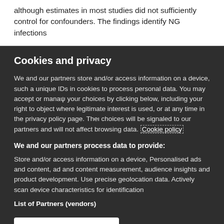although estimates in most studies did not sufficiently control for confounders. The findings identify NG infections
Cookies and privacy
We and our partners store and/or access information on a device, such as unique IDs in cookies to process personal data. You may accept or manage your choices by clicking below, including your right to object where legitimate interest is used, or at any time in the privacy policy page. These choices will be signaled to our partners and will not affect browsing data. Cookie policy
We and our partners process data to provide:
Store and/or access information on a device, Personalised ads and content, ad and content measurement, audience insights and product development. Use precise geolocation data. Actively scan device characteristics for identification
List of Partners (vendors)
I Accept